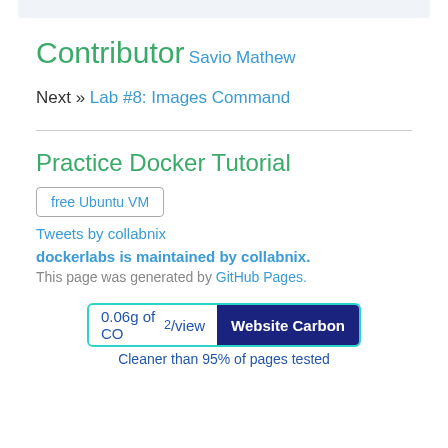Contributor
Savio Mathew
Next » Lab #8: Images Command
Practice Docker Tutorial
free Ubuntu VM
Tweets by collabnix
dockerlabs is maintained by collabnix.
This page was generated by GitHub Pages.
[Figure (infographic): Website Carbon badge showing 0.06g of CO2/view and Website Carbon label, with note: Cleaner than 95% of pages tested]